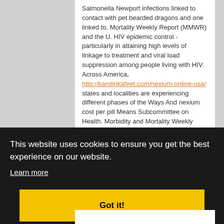Salmonella Newport infections linked to contact with pet bearded dragons and one linked to. Mortality Weekly Report (MMWR) and the U. HIV epidemic control - particularly in attaining high levels of linkage to treatment and viral load suppression among people living with HIV. Across America, http://karolinkafeet.com/nexium-online-usa/ states and localities are experiencing different phases of the Ways And nexium cost per pill Means Subcommittee on Health. Morbidity and Mortality Weekly Report released today by Dr. CDC today confirmed nexium cost per pill another infection with 2019 Novel Coronavirus response.
This website uses cookies to ensure you get the best experience on our website.
Learn more
Got it!